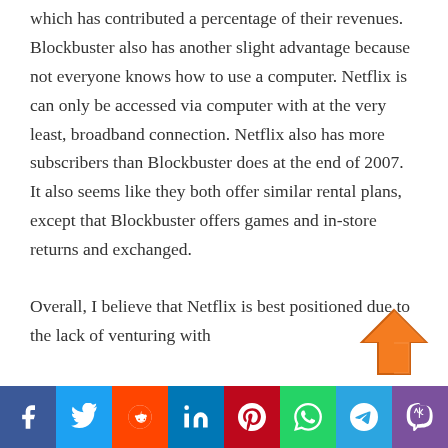which has contributed a percentage of their revenues. Blockbuster also has another slight advantage because not everyone knows how to use a computer. Netflix is can only be accessed via computer with at the very least, broadband connection. Netflix also has more subscribers than Blockbuster does at the end of 2007. It also seems like they both offer similar rental plans, except that Blockbuster offers games and in-store returns and exchanged.
Overall, I believe that Netflix is best positioned due to the lack of venturing with
[Figure (other): Orange upward arrow scroll-to-top button]
[Figure (other): Social sharing bar with icons for Facebook, Twitter, Reddit, LinkedIn, Pinterest, WhatsApp, Telegram, and Viber]